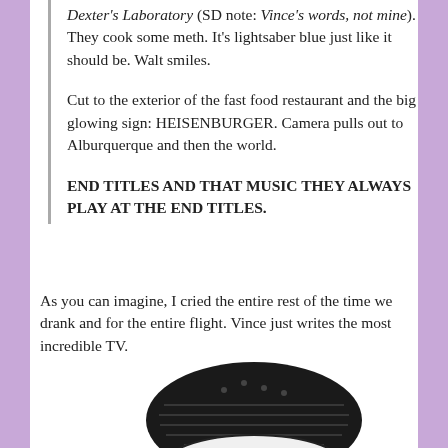Dexter's Laboratory (SD note: Vince's words, not mine). They cook some meth. It's lightsaber blue just like it should be. Walt smiles.
Cut to the exterior of the fast food restaurant and the big glowing sign: HEISENBURGER. Camera pulls out to Alburquerque and then the world.
END TITLES AND THAT MUSIC THEY ALWAYS PLAY AT THE END TITLES.
As you can imagine, I cried the entire rest of the time we drank and for the entire flight. Vince just writes the most incredible TV.
[Figure (illustration): Black and white hand-drawn illustration of a burger with a face resembling Walter White (Heisenberg) — wearing sunglasses and showing cheese. Below the illustration is text reading HEISENBURGER in a stylized font.]